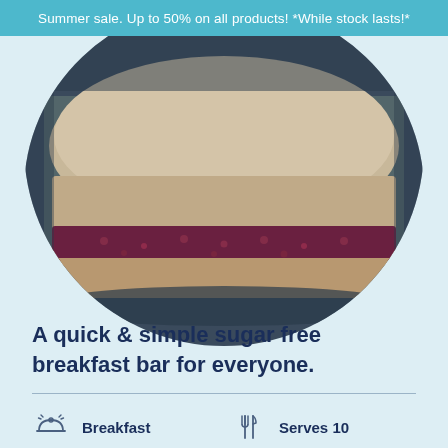Summer sale. Up to 50% on all products! *While stock lasts!*
[Figure (photo): Close-up photo of a breakfast bar with jam filling on a dark plate, shown in a circular crop]
A quick & simple sugar free breakfast bar for everyone.
Breakfast
Serves 10
Cooks in 1 hour
Medium